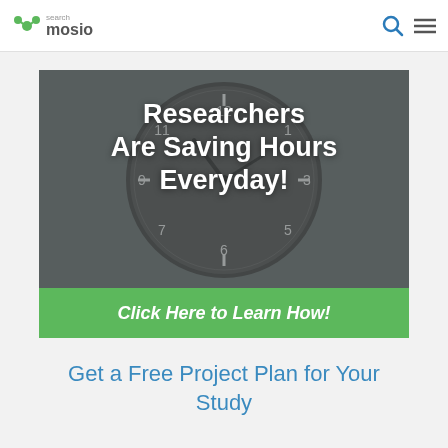searchmosio
[Figure (screenshot): Banner advertisement showing a clock in dark background with text 'Researchers Are Saving Hours Everyday!' and a green button 'Click Here to Learn How!']
Get a Free Project Plan for Your Study